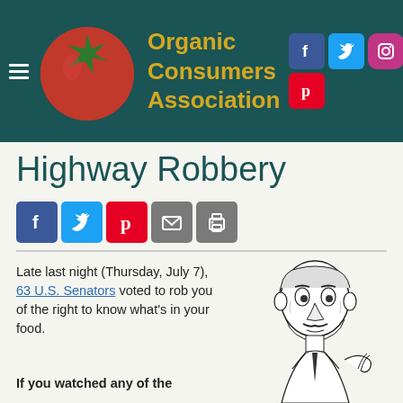[Figure (logo): Organic Consumers Association logo with red tomato and green star, teal background, social media icons (Facebook, Twitter, Instagram, Pinterest)]
Highway Robbery
[Figure (infographic): Social sharing buttons row: Facebook, Twitter, Pinterest, Email, Print]
Late last night (Thursday, July 7), 63 U.S. Senators voted to rob you of the right to know what's in your food.
[Figure (illustration): Black and white caricature illustration of an older man in a suit]
If you watched any of the